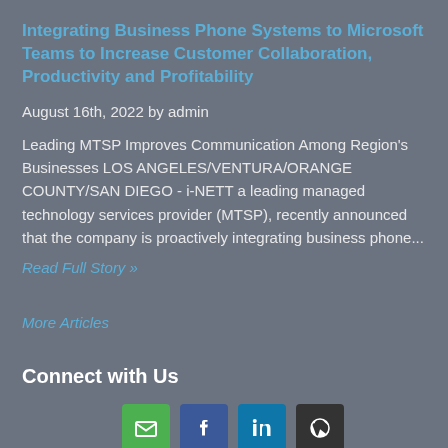Integrating Business Phone Systems to Microsoft Teams to Increase Customer Collaboration, Productivity and Profitability
August 16th, 2022 by admin
Leading MTSP Improves Communication Among Region's Businesses LOS ANGELES/VENTURA/ORANGE COUNTY/SAN DIEGO - i-NETT a leading managed technology services provider (MTSP), recently announced that the company is proactively integrating business phone...
Read Full Story »
More Articles
Connect with Us
[Figure (infographic): Four social media icons: email (green), Facebook (blue), LinkedIn (light blue), WordPress (dark/black)]